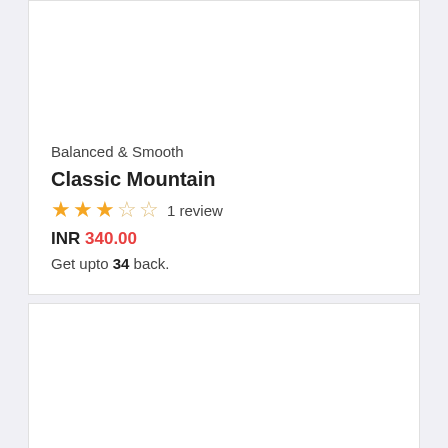Balanced & Smooth
Classic Mountain
★★★☆☆ 1 review
INR 340.00
Get upto 34 back.